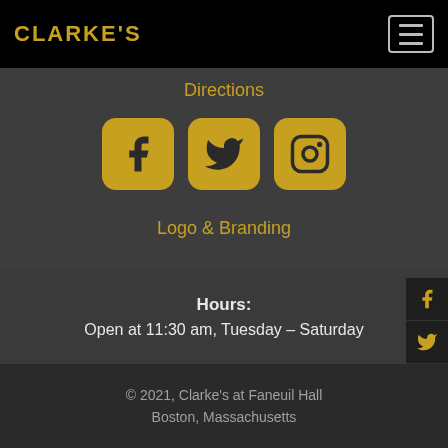CLARKE'S
Directions
[Figure (illustration): Three social media icons (Facebook, Twitter, Instagram) with gold rounded square backgrounds]
Logo & Branding
Hours: Open at 11:30 am, Tuesday – Saturday
© 2021, Clarke's at Faneuil Hall Boston, Massachusetts